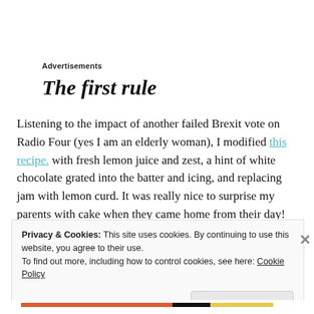Advertisements
The first rule
Listening to the impact of another failed Brexit vote on Radio Four (yes I am an elderly woman), I modified this recipe. with fresh lemon juice and zest, a hint of white chocolate grated into the batter and icing, and replacing jam with lemon curd. It was really nice to surprise my parents with cake when they came home from their day!
Privacy & Cookies: This site uses cookies. By continuing to use this website, you agree to their use. To find out more, including how to control cookies, see here: Cookie Policy Close and accept